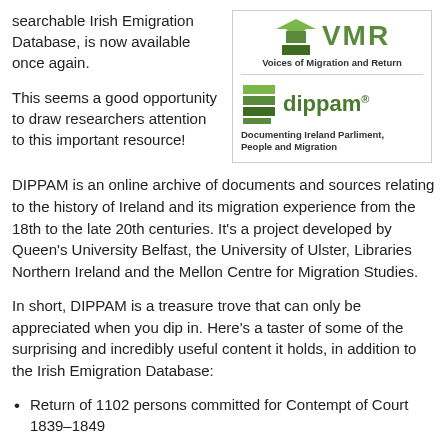searchable Irish Emigration Database, is now available once again.
This seems a good opportunity to draw researchers attention to this important resource!
[Figure (logo): VMR - Voices of Migration and Return logo with green geometric shapes, and DIPPAM - Documenting Ireland Parliment, People and Migration logo with green stacked rectangles]
DIPPAM is an online archive of documents and sources relating to the history of Ireland and its migration experience from the 18th to the late 20th centuries. It's a project developed by Queen's University Belfast, the University of Ulster, Libraries Northern Ireland and the Mellon Centre for Migration Studies.
In short, DIPPAM is a treasure trove that can only be appreciated when you dip in. Here's a taster of some of the surprising and incredibly useful content it holds, in addition to the Irish Emigration Database:
Return of 1102 persons committed for Contempt of Court 1839–1849